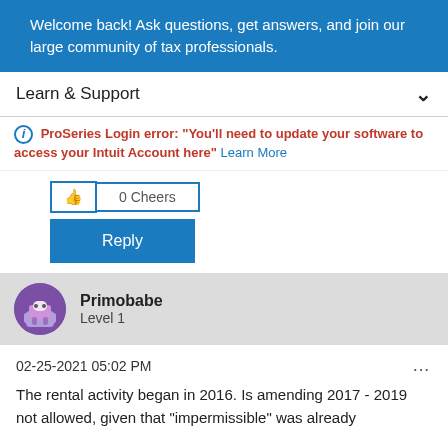Welcome back! Ask questions, get answers, and join our large community of tax professionals.
Learn & Support
ProSeries Login error: "You'll need to update your software to access your Intuit Account here" Learn More
0 Cheers
Reply
Primobabe
Level 1
02-25-2021 05:02 PM
The rental activity began in 2016. Is amending 2017 - 2019 not allowed, given that "impermissible" was already